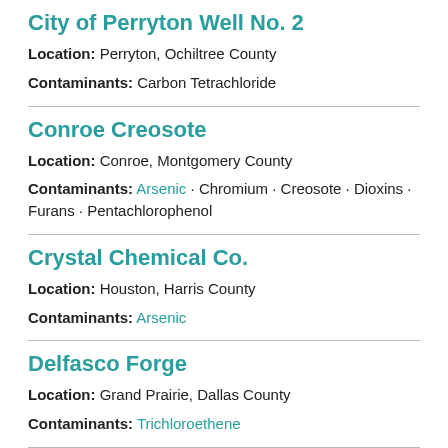City of Perryton Well No. 2
Location: Perryton, Ochiltree County
Contaminants: Carbon Tetrachloride
Conroe Creosote
Location: Conroe, Montgomery County
Contaminants: Arsenic · Chromium · Creosote · Dioxins · Furans · Pentachlorophenol
Crystal Chemical Co.
Location: Houston, Harris County
Contaminants: Arsenic
Delfasco Forge
Location: Grand Prairie, Dallas County
Contaminants: Trichloroethene
Donna Reservoir and Canal